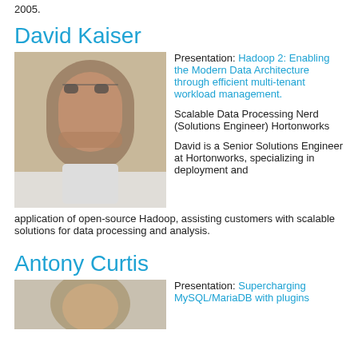2005.
David Kaiser
[Figure (photo): Headshot photo of David Kaiser, a middle-aged man with glasses and short gray hair, wearing a white shirt.]
Presentation: Hadoop 2: Enabling the Modern Data Architecture through efficient multi-tenant workload management.
Scalable Data Processing Nerd (Solutions Engineer) Hortonworks
David is a Senior Solutions Engineer at Hortonworks, specializing in deployment and application of open-source Hadoop, assisting customers with scalable solutions for data processing and analysis.
Antony Curtis
[Figure (photo): Partial headshot photo of Antony Curtis.]
Presentation: Supercharging MySQL/MariaDB with plugins